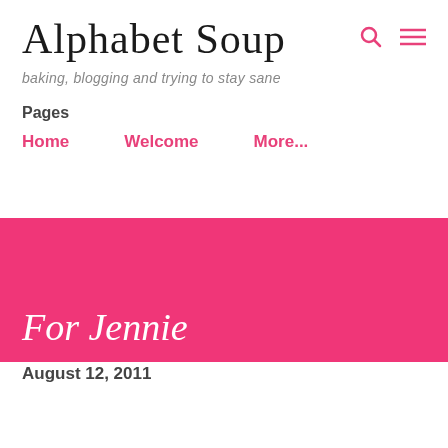Alphabet Soup
baking, blogging and trying to stay sane
Pages
Home
Welcome
More...
For Jennie
August 12, 2011